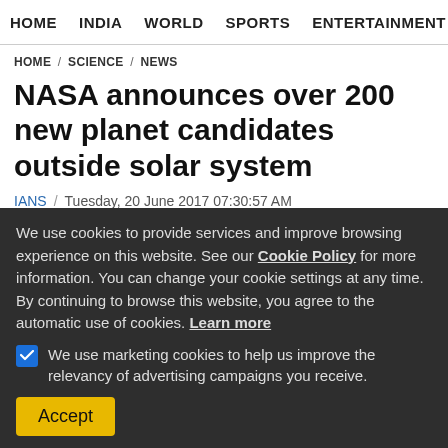HOME  INDIA  WORLD  SPORTS  ENTERTAINMENT  A
HOME / SCIENCE / NEWS
NASA announces over 200 new planet candidates outside solar system
IANS / Tuesday, 20 June 2017 07:30:57 AM
[Figure (other): Social share buttons: Facebook, Twitter, Reddit, Flipboard, Email, WhatsApp]
We use cookies to provide services and improve browsing experience on this website. See our Cookie Policy for more information. You can change your cookie settings at any time. By continuing to browse this website, you agree to the automatic use of cookies. Learn more
We use marketing cookies to help us improve the relevancy of advertising campaigns you receive.
Accept